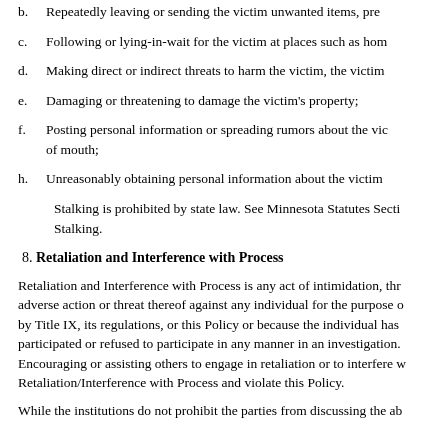b.  Repeatedly leaving or sending the victim unwanted items, pre...
c.  Following or lying-in-wait for the victim at places such as hom...
d.  Making direct or indirect threats to harm the victim, the victim...
e.  Damaging or threatening to damage the victim's property;
f.  Posting personal information or spreading rumors about the vic... of mouth;
h.  Unreasonably obtaining personal information about the victim...
Stalking is prohibited by state law. See Minnesota Statutes Secti... Stalking.
8. Retaliation and Interference with Process
Retaliation and Interference with Process is any act of intimidation, thr... adverse action or threat thereof against any individual for the purpose o... by Title IX, its regulations, or this Policy or because the individual has... participated or refused to participate in any manner in an investigation... Encouraging or assisting others to engage in retaliation or to interfere w... Retaliation/Interference with Process and violate this Policy.
While the institutions do not prohibit the parties from discussing the ab...